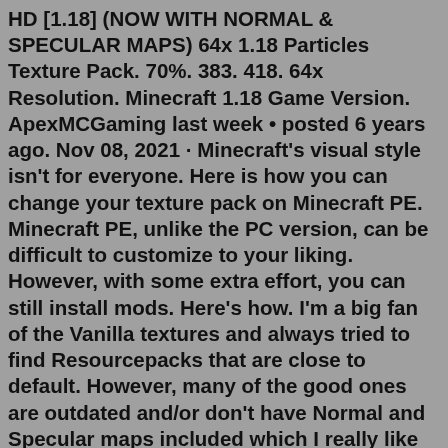HD [1.18] (NOW WITH NORMAL & SPECULAR MAPS) 64x 1.18 Particles Texture Pack. 70%. 383. 418. 64x Resolution. Minecraft 1.18 Game Version. ApexMCGaming last week • posted 6 years ago. Nov 08, 2021 · Minecraft's visual style isn't for everyone. Here is how you can change your texture pack on Minecraft PE. Minecraft PE, unlike the PC version, can be difficult to customize to your liking. However, with some extra effort, you can still install mods. Here's how. I'm a big fan of the Vanilla textures and always tried to find Resourcepacks that are close to default. However, many of the good ones are outdated and/or don't have Normal and Specular maps included which I really like to have since I'm using Shaders almost all the time. So, one lonely weekend I decided I would make my own textures - and that ...A showcase for the texturepack I made for Minecraft. It is pretty close to the original but with a higher resolution and added details and intended for use w...Default Texture Pack (Template) 1.19 → 1.18,